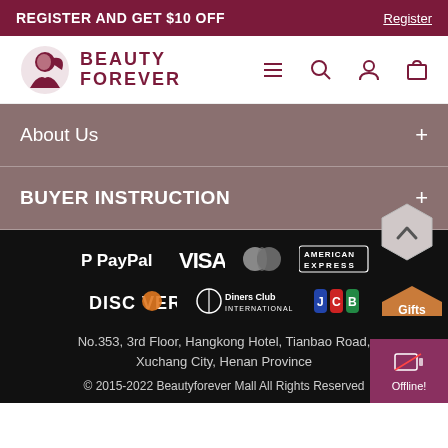REGISTER AND GET $10 OFF  Register
[Figure (logo): Beauty Forever logo with woman silhouette icon and text BEAUTY FOREVER]
About Us
BUYER INSTRUCTION
[Figure (infographic): Payment method logos: PayPal, VISA, Mastercard, American Express, Discover, Diners Club International, JCB]
No.353, 3rd Floor, Hangkong Hotel, Tianbao Road, Xuchang City, Henan Province
© 2015-2022 Beautyforever Mall All Rights Reserved